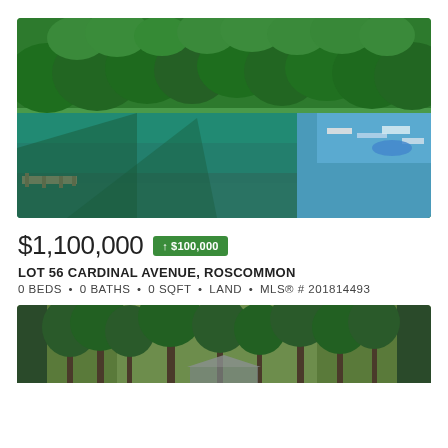[Figure (photo): Aerial view of a lake with dense green forest along the shoreline and docks with boats visible on the right side. Clear blue-green water reflects the trees.]
$1,100,000 ↑ $100,000
LOT 56 CARDINAL AVENUE, ROSCOMMON
0 BEDS • 0 BATHS • 0 SQFT • LAND • MLS® # 201814493
[Figure (photo): Wooded lot with tall pine trees and a glimpse of a structure or rooftop peeking through the trees.]